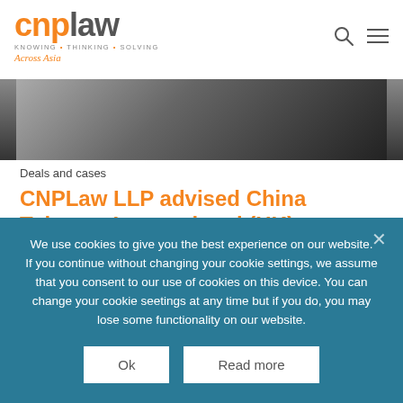[Figure (logo): CNPLaw logo with tagline KNOWING THINKING SOLVING Across Asia and navigation icons]
[Figure (photo): Partial hero image showing a dark, blurred photo background]
Deals and cases
CNPLaw LLP advised China Tobacco International (HK) Company Limited (“Company”) as to Singapore law in its listing on the Main Board of the Stock
We use cookies to give you the best experience on our website. If you continue without changing your cookie settings, we assume that you consent to our use of cookies on this device. You can change your cookie seetings at any time but if you do, you may lose some functionality on our website.
Ok
Read more